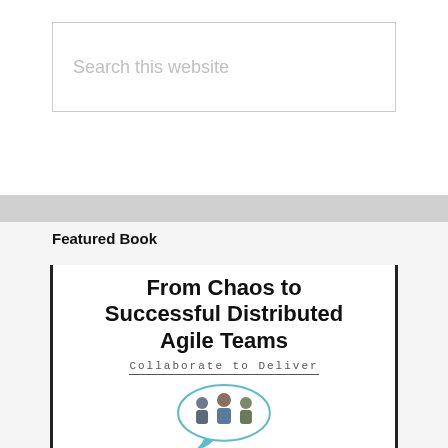Search this website
Featured Book
[Figure (illustration): Book cover showing title 'From Chaos to Successful Distributed Agile Teams: Collaborate to Deliver' with illustration of three people in a speech bubble]